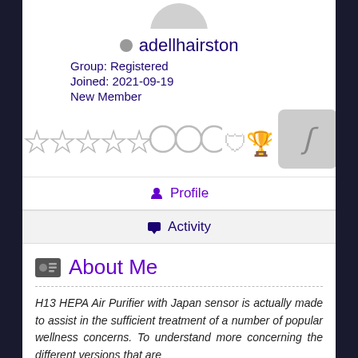[Figure (illustration): Partial avatar/profile picture circle at top of page, partially cropped]
adellhairston
Group: Registered
Joined: 2021-09-19
New Member
[Figure (illustration): Row of achievement badge icons (stars, circles, shield, trophy) in gray, followed by a gray square badge with a stylized letter]
Profile
Activity
About Me
H13 HEPA Air Purifier with Japan sensor is actually made to assist in the sufficient treatment of a number of popular wellness concerns. To understand more concerning the different versions that are